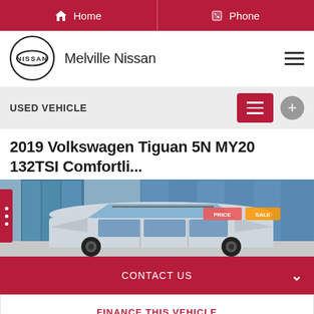Home | Phone
[Figure (logo): Nissan logo with circular design and NISSAN text, alongside 'Melville Nissan' brand name]
USED VEHICLE
2019 Volkswagen Tiguan 5N MY20 132TSI Comfortli...
[Figure (photo): Photo of a 2019 Volkswagen Tiguan in a dealership lot, showing the car's exterior from a front-side angle with dealership building in background]
CONTACT US
FINANCE THIS VEHICLE